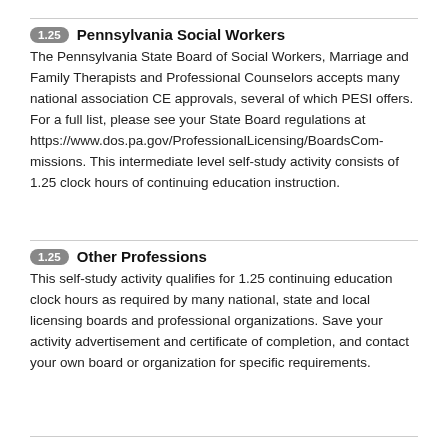1.25 Pennsylvania Social Workers
The Pennsylvania State Board of Social Workers, Marriage and Family Therapists and Professional Counselors accepts many national association CE approvals, several of which PESI offers. For a full list, please see your State Board regulations at https://www.dos.pa.gov/ProfessionalLicensing/BoardsCommissions. This intermediate level self-study activity consists of 1.25 clock hours of continuing education instruction.
1.25 Other Professions
This self-study activity qualifies for 1.25 continuing education clock hours as required by many national, state and local licensing boards and professional organizations. Save your activity advertisement and certificate of completion, and contact your own board or organization for specific requirements.